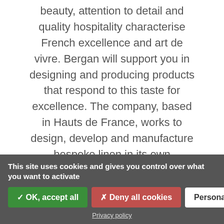beauty, attention to detail and quality hospitality characterise French excellence and art de vivre. Bergan will support you in designing and producing products that respond to this taste for excellence. The company, based in Hauts de France, works to design, develop and manufacture bespoke linen in its own workshops of professional seamstresses: An exceptional service is guaranteed by this France- designed for the most demanding luxury establishments.
This site uses cookies and gives you control over what you want to activate
✓ OK, accept all
✗ Deny all cookies
Personalize
Privacy policy